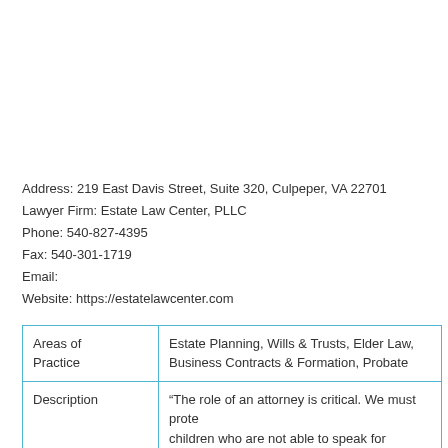Address: 219 East Davis Street, Suite 320, Culpeper, VA 22701
Lawyer Firm: Estate Law Center, PLLC
Phone: 540-827-4395
Fax: 540-301-1719
Email:
Website: https://estatelawcenter.com
| Areas of Practice | Estate Planning, Wills & Trusts, Elder Law, Business Contracts & Formation, Probate |
| Description | "The role of an attorney is critical. We must protect children who are not able to speak for themselves. We must protect our neighbor who has been wronged by another. We must reach out to the elderly who may be... |